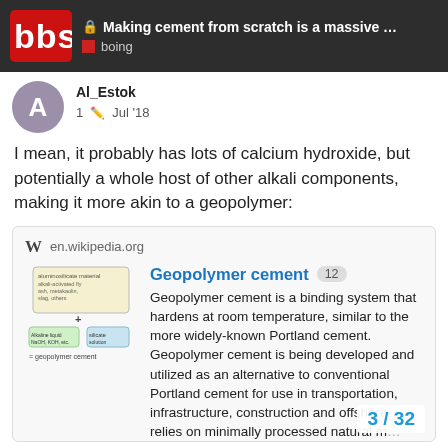Making cement from scratch is a massive ... | boing
Al_Estok  1  Jul '18
I mean, it probably has lots of calcium hydroxide, but potentially a whole host of other alkali components, making it more akin to a geopolymer:
[Figure (screenshot): Wikipedia link card for Geopolymer cement article from en.wikipedia.org showing a thumbnail diagram of geopolymer cement components and a short description: Geopolymer cement is a binding system that hardens at room temperature, similar to the more widely-known Portland cement. Geopolymer cement is being developed and utilized as an alternative to conventional Portland cement for use in transportation, infrastructure, construction and offshore... relies on minimally processed natural m...]
3 / 32